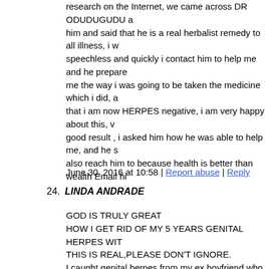research on the Internet, we came across DR ODUDUGUDU a him and said that he is a real herbalist remedy to all illness, i w speechless and quickly i contact him to help me and he prepare me the way i was going to be taken the medicine which i did, a that i am now HERPES negative, i am very happy about this, v good result , i asked him how he was able to help me, and he s also reach him to because health is better than wealth Email hi
June 30, 2016 at 10:58 | Report abuse | Reply
24. LINDA ANDRADE
GOD IS TRULY GREAT HOW I GET RID OF MY 5 YEARS GENITAL HERPES WIT THIS IS REAL,PLEASE DON'T IGNORE. I caught genital herpes from my ex boyfriend who never never many outbreak,and it affected my life. I told my husband who new relationship with my husband. People think herpes is reall health. The stigma attached to this virus by ignorant people is r another. I will like to tell everyone who is reading this my testi a comment on the internet,and i saw a testimony posted by a ye help of DOCTOR OGIDIGBE.So i was so happy when i saw t quickly copied the herbal doctor email address and i email him to him he told me not to worry that i should fill his herbal form the herbal medicine,that i should send him my address that he FED-EX that was how i got the herbal medication and i use it